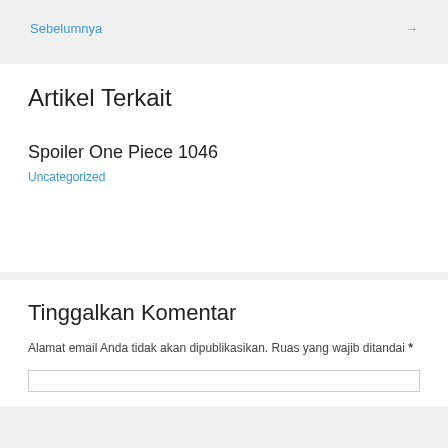Sebelumnya →
Artikel Terkait
Spoiler One Piece 1046
Uncategorized
Tinggalkan Komentar
Alamat email Anda tidak akan dipublikasikan. Ruas yang wajib ditandai *